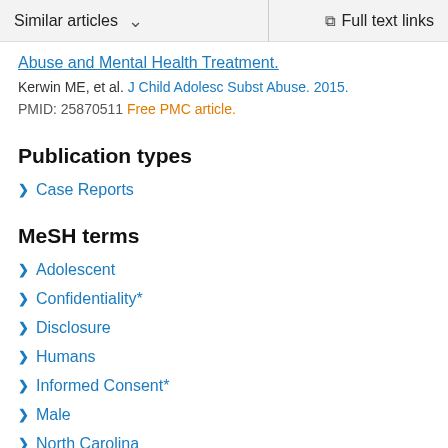Similar articles  ˅   Full text links
Abuse and Mental Health Treatment.
Kerwin ME, et al. J Child Adolesc Subst Abuse. 2015.
PMID: 25870511 Free PMC article.
Publication types
Case Reports
MeSH terms
Adolescent
Confidentiality*
Disclosure
Humans
Informed Consent*
Male
North Carolina